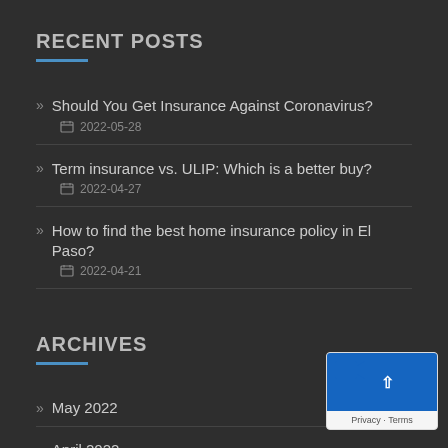RECENT POSTS
Should You Get Insurance Against Coronavirus?
2022-05-28
Term insurance vs. ULIP: Which is a better buy?
2022-04-27
How to find the best home insurance policy in El Paso?
2022-04-21
ARCHIVES
May 2022
April 2022